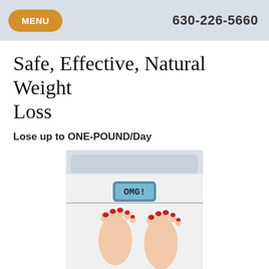MENU  630-226-5660
Safe, Effective, Natural Weight Loss
Lose up to ONE-POUND/Day
[Figure (photo): Person standing on a white bathroom scale displaying 'OMG!' on the digital readout, showing feet with red toenails]
I don't know about you, but there are a lot of New Year resolutions, starting sometime in January, for...